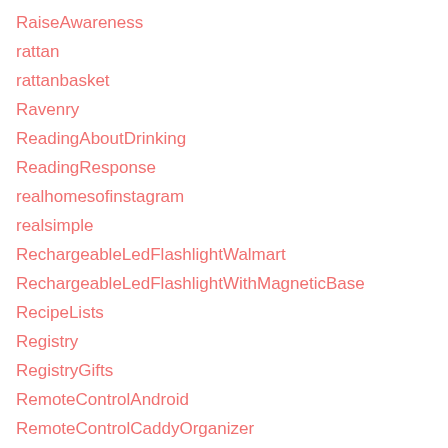RaiseAwareness
rattan
rattanbasket
Ravenry
ReadingAboutDrinking
ReadingResponse
realhomesofinstagram
realsimple
RechargeableLedFlashlightWalmart
RechargeableLedFlashlightWithMagneticBase
RecipeLists
Registry
RegistryGifts
RemoteControlAndroid
RemoteControlCaddyOrganizer